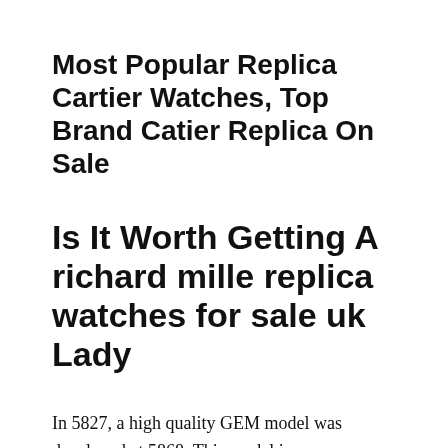Most Popular Replica Cartier Watches, Top Brand Catier Replica On Sale
Is It Worth Getting A richard mille replica watches for sale uk Lady
In 5827, a high quality GEM model was developed at 5868. This model is very common. Recently, Rado won the world of Ditava. Women and night new models have their own